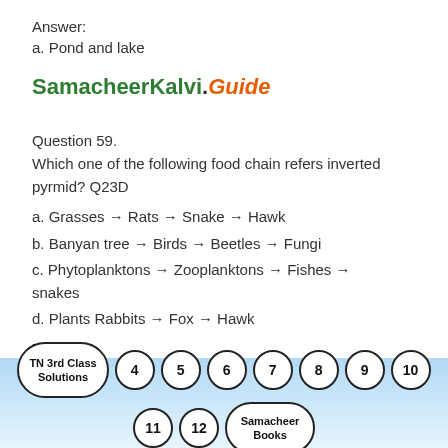Answer:
a. Pond and lake
SamacheerKalvi.Guide
Question 59.
Which one of the following food chain refers inverted pyrmid? Q23D
a. Grasses → Rats → Snake → Hawk
b. Banyan tree → Birds → Beetles → Fungi
c. Phytoplanktons → Zooplanktons → Fishes → snakes
d. Plants Rabbits → Fox → Hawk
-
TN 3rd Class Solutions  4  5  6  7  8  9  10  11  12  Samacheer Books